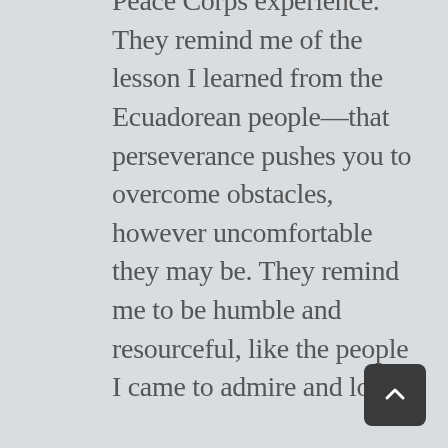Peace Corps experience. They remind me of the lesson I learned from the Ecuadorean people—that perseverance pushes you to overcome obstacles, however uncomfortable they may be. They remind me to be humble and resourceful, like the people I came to admire and love.